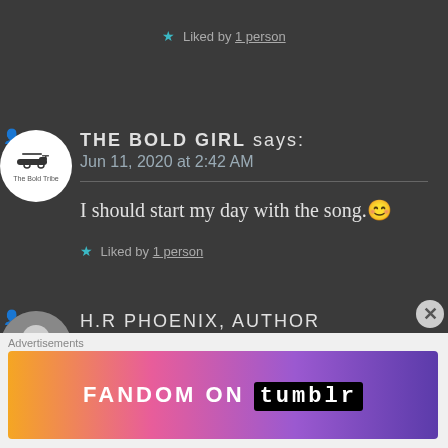★ Liked by 1 person
THE BOLD GIRL says:
Jun 11, 2020 at 2:42 AM
I should start my day with the song.😊
★ Liked by 1 person
H.R PHOENIX, AUTHOR
[Figure (screenshot): Fandom on Tumblr advertisement banner with colorful gradient background]
Advertisements